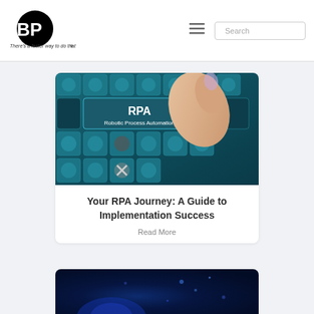[Figure (logo): BP3 logo - bold circular logo with BP3 text and tagline 'There's a faster way to do that']
[Figure (photo): Close-up of keyboard keys with RPA Robotic Process Automation text overlay and a finger pressing a key]
Your RPA Journey: A Guide to Implementation Success
Read More
[Figure (photo): Dark blue/teal technology abstract image, bottom partial view]